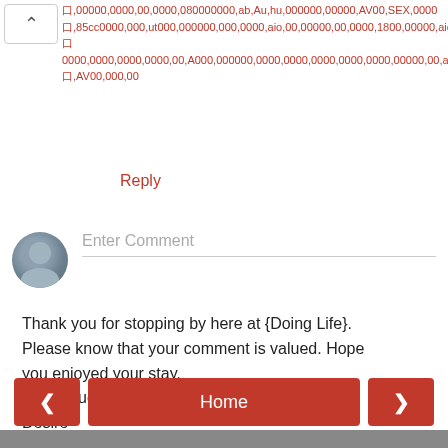口,00000,0000,00,0000,080000000,ab,Au,hu,000000,00000,AV00,SEX,0000口,85cc0000,000,ut000,000000,000,0000,aio,00,00000,00,0000,1800,00000,aio口0000,0000,0000,0000,00,A000,000000,0000,0000,0000,0000,0000,00000,00,a口,AV00,000,00
Reply
Enter Comment
Thank you for stopping by here at {Doing Life}. Please know that your comment is valued. Hope you enjoyed your stay.
Crafty hugs
Desire
Home
View web version